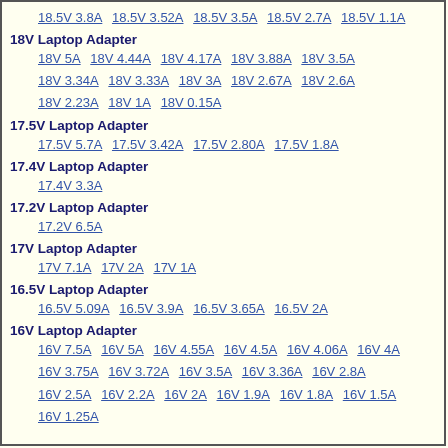18.5V 3.8A  18.5V 3.52A  18.5V 3.5A  18.5V 2.7A  18.5V 1.1A
18V Laptop Adapter
18V 5A  18V 4.44A  18V 4.17A  18V 3.88A  18V 3.5A
18V 3.34A  18V 3.33A  18V 3A  18V 2.67A  18V 2.6A
18V 2.23A  18V 1A  18V 0.15A
17.5V Laptop Adapter
17.5V 5.7A  17.5V 3.42A  17.5V 2.80A  17.5V 1.8A
17.4V Laptop Adapter
17.4V 3.3A
17.2V Laptop Adapter
17.2V 6.5A
17V Laptop Adapter
17V 7.1A  17V 2A  17V 1A
16.5V Laptop Adapter
16.5V 5.09A  16.5V 3.9A  16.5V 3.65A  16.5V 2A
16V Laptop Adapter
16V 7.5A  16V 5A  16V 4.55A  16V 4.5A  16V 4.06A  16V 4A
16V 3.75A  16V 3.72A  16V 3.5A  16V 3.36A  16V 2.8A
16V 2.5A  16V 2.2A  16V 2A  16V 1.9A  16V 1.8A  16V 1.5A
16V 1.25A